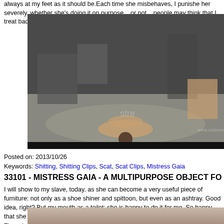always at my feet as it should be.Each time she misbehaves, I punishe her severely, whether she's doing it on purpose... or not... people may think that I treat badly this bitch, bu
[Figure (photo): Studio scene with a person lying on the floor on a plastic sheet, with another person crouching nearby. Studio equipment visible in background.]
Posted on: 2013/10/26
Keywords: Shitting, Shitting Clips, Scat, Scat Clips, Mistress Gaia
33101 - MISTRESS GAIA - A MULTIPURPOSE OBJECT FO
I will show to my slave, today, as she can become a very useful piece of furniture: not only as a shoe shiner and spittoon, but even as an ashtray. Good idea, right? But my mouth as a toilet: she is happy to do it for me. So happy that she will drink also a w nectar. Download the video if you do not believe me. There is no trick: it’s all true!
[Figure (photo): Partial view of a person, cropped at bottom of page.]